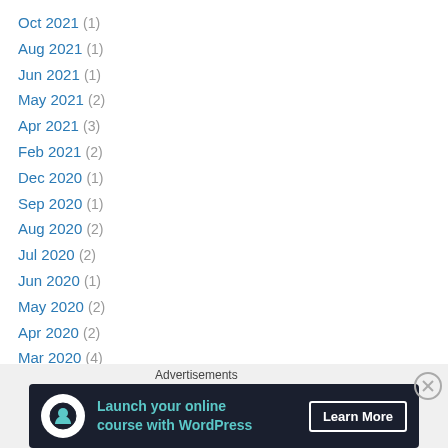Oct 2021 (1)
Aug 2021 (1)
Jun 2021 (1)
May 2021 (2)
Apr 2021 (3)
Feb 2021 (2)
Dec 2020 (1)
Sep 2020 (1)
Aug 2020 (2)
Jul 2020 (2)
Jun 2020 (1)
May 2020 (2)
Apr 2020 (2)
Mar 2020 (4)
Feb 2020 (1)
Jan 2020 (4)
Advertisements
[Figure (other): Advertisement banner: Launch your online course with WordPress - Learn More button]